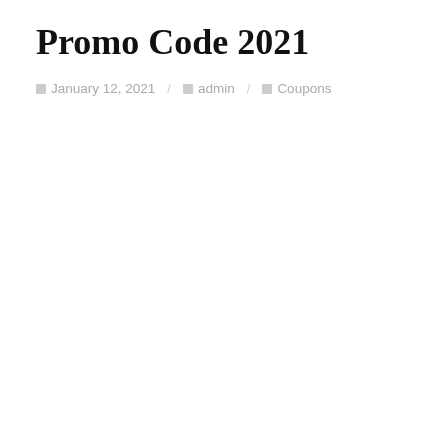Promo Code 2021
January 12, 2021 / admin / Coupons